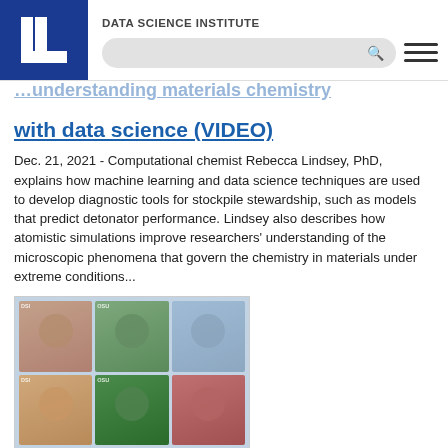DATA SCIENCE INSTITUTE
…understanding materials chemistry with data science (VIDEO)
Dec. 21, 2021 - Computational chemist Rebecca Lindsey, PhD, explains how machine learning and data science techniques are used to develop diagnostic tools for stockpile stewardship, such as models that predict detonator performance. Lindsey also describes how atomistic simulations improve researchers' understanding of the microscopic phenomena that govern the chemistry in materials under extreme conditions...
[Figure (photo): Grid of six headshot photos of researchers, arranged in two rows of three, with DSI/OSU watermarks visible on a blue background]
Career panel spotlights diversity,